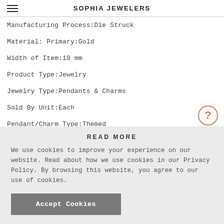SOPHIA JEWELERS
Manufacturing Process:Die Struck
Material: Primary:Gold
Width of Item:10 mm
Product Type:Jewelry
Jewelry Type:Pendants & Charms
Sold By Unit:Each
Pendant/Charm Type:Themed
Material: Primary - C...
READ MORE
We use cookies to improve your experience on our website. Read about how we use cookies in our Privacy Policy. By browsing this website, you agree to our use of cookies.
Accept Cookies